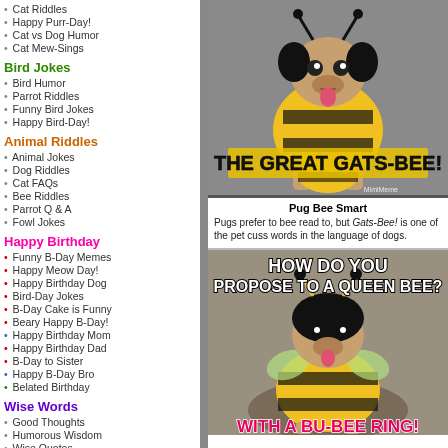Cat Riddles
Happy Purr-Day!
Cat vs Dog Humor
Cat Mew-Sings
Bird Jokes
Bird Humor
Parrot Riddles
Funny Bird Jokes
Happy Bird-Day!
Animal Riddles
Animal Jokes
Dog Riddles
Cat FAQs
Bee Riddles
Parrot Q & A
Fowl Jokes
Happy Birthday
Funny B-Day Memes
Happy Meow Day!
Happy Birthday Dog
Bird-Day Jokes
B-Day Cake is Funny
Beary Happy B-Day!
Happy Birthday Mom
Happy Birthday Dad
B-Day to Sister
Happy B-Day Bro
Belated Birthday
Wise Words
Good Thoughts
Humorous Wisdom
Wise Quotes
Cosmic Wisdom
Signs of Inspiration
[Figure (photo): Pug dressed in a bee costume with text overlay 'THE GREAT GATS-BEE!' and a MimiMeme watermark]
Pug Bee Smart
Pugs prefer to bee read to, but Gats-Bee! is one of the pet cuss words in the language of dogs.
[Figure (photo): Pug dressed in a bee costume with text overlay 'HOW DO YOU PROPOSE TO A QUEEN BEE?' and bottom text 'WITH A BU-BEE RING!']